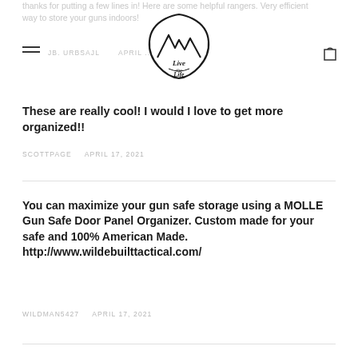thanks for putting a few lines in! Here are some helpful rangers. Very efficient way to store your guns indoors!
[Figure (logo): Live The Life mountain logo badge — black line art of mountain peaks with script text 'Live The Life' inside a shield/badge shape]
These are really cool! I would I love to get more organized!!
SCOTTPAGE   APRIL 17, 2021
You can maximize your gun safe storage using a MOLLE Gun Safe Door Panel Organizer.  Custom made for your safe and 100% American Made. http://www.wildebuilttactical.com/
WILDMAN5427   APRIL 17, 2021